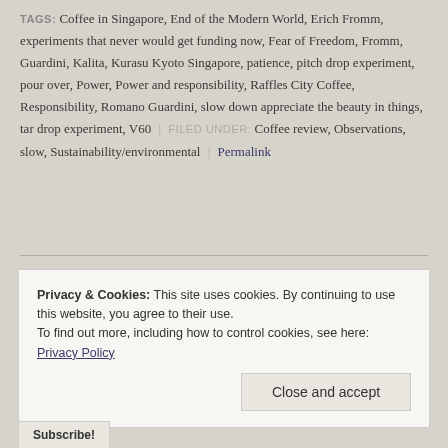TAGS: Coffee in Singapore, End of the Modern World, Erich Fromm, experiments that never would get funding now, Fear of Freedom, Fromm, Guardini, Kalita, Kurasu Kyoto Singapore, patience, pitch drop experiment, pour over, Power, Power and responsibility, Raffles City Coffee, Responsibility, Romano Guardini, slow down appreciate the beauty in things, tar drop experiment, V60 | FILED UNDER: Coffee review, Observations, slow, Sustainability/environmental | Permalink
Privacy & Cookies: This site uses cookies. By continuing to use this website, you agree to their use. To find out more, including how to control cookies, see here: Privacy Policy
Close and accept
Subscribe!